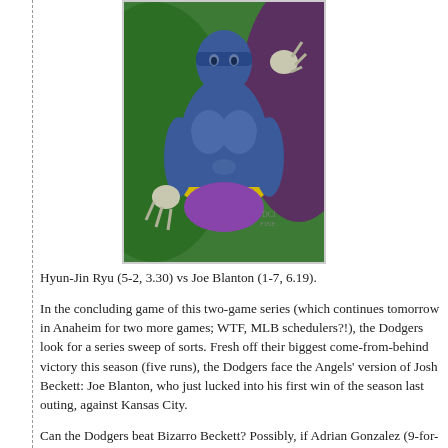[Figure (illustration): Comic book style illustration of a superhero character with blue muscular body, yellow belt, purple shorts/briefs, green cape, on a green background]
Hyun-Jin Ryu (5-2, 3.30) vs Joe Blanton (1-7, 6.19).
In the concluding game of this two-game series (which continues tomorrow in Anaheim for two more games; WTF, MLB schedulers?!), the Dodgers look for a series sweep of sorts. Fresh off their biggest come-from-behind victory this season (five runs), the Dodgers face the Angels' version of Josh Beckett: Joe Blanton, who just lucked into his first win of the season last outing, against Kansas City.
Can the Dodgers beat Bizarro Beckett? Possibly, if Adrian Gonzalez (9-for-11 in his last three games, with 7 RBI, 6 R and 2 HR) can bat third, fourth, and fifth in the lineup. Other than that, even with Dee Gordon down in the minors, it may be another error-filled (for us), high-scoring (for them, and maybe even us) evening.
This GT is late, by the way, courtesy of gogo inflight, which is slower than fucking molasses in January. My apologies; blogging from the